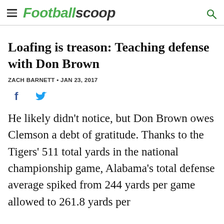Footballscoop
Loafing is treason: Teaching defense with Don Brown
ZACH BARNETT • JAN 23, 2017
[Figure (other): Social sharing icons: Facebook and Twitter]
He likely didn't notice, but Don Brown owes Clemson a debt of gratitude. Thanks to the Tigers' 511 total yards in the national championship game, Alabama's total defense average spiked from 244 yards per game allowed to 261.8 yards per